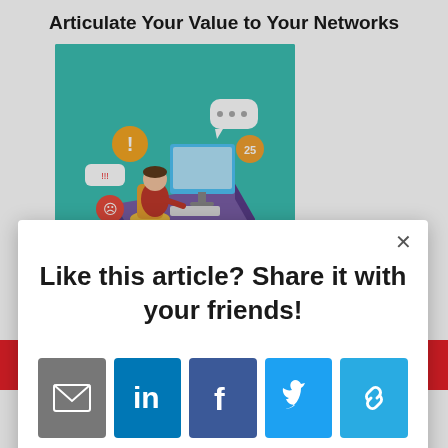Articulate Your Value to Your Networks
[Figure (illustration): Isometric illustration of a person sitting at a desk working on a computer, with social media notification bubbles floating around them, on a teal/green background.]
Like this article? Share it with your friends!
[Figure (infographic): Row of 5 social sharing icon buttons: Email (grey), LinkedIn (blue), Facebook (dark blue), Twitter (light blue), Link/copy (light blue)]